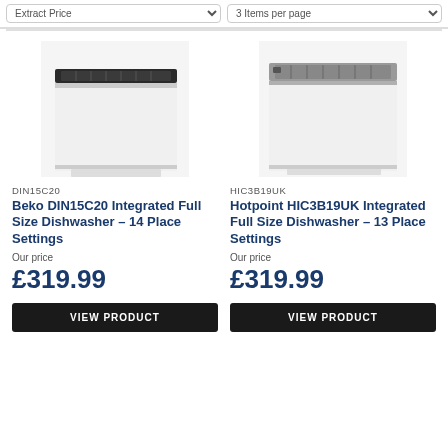[Figure (photo): Beko DIN15C20 integrated full size dishwasher, white door panel, racks visible at top]
DIN15C20
Beko DIN15C20 Integrated Full Size Dishwasher - 14 Place Settings
Our price
£319.99
[Figure (photo): Hotpoint HIC3B19UK integrated full size dishwasher, white door panel, racks visible at top]
HIC3B19UK
Hotpoint HIC3B19UK Integrated Full Size Dishwasher - 13 Place Settings
Our price
£319.99